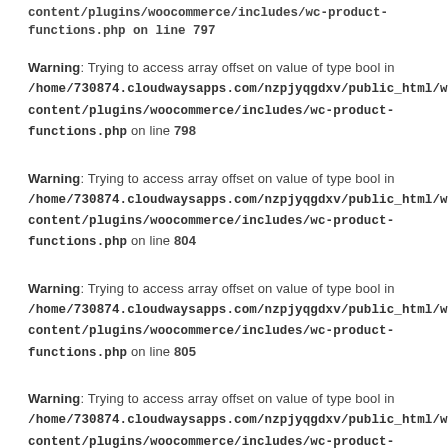content/plugins/woocommerce/includes/wc-product-functions.php on line 797
Warning: Trying to access array offset on value of type bool in /home/730874.cloudwaysapps.com/nzpjyqgdxv/public_html/wp-content/plugins/woocommerce/includes/wc-product-functions.php on line 798
Warning: Trying to access array offset on value of type bool in /home/730874.cloudwaysapps.com/nzpjyqgdxv/public_html/wp-content/plugins/woocommerce/includes/wc-product-functions.php on line 804
Warning: Trying to access array offset on value of type bool in /home/730874.cloudwaysapps.com/nzpjyqgdxv/public_html/wp-content/plugins/woocommerce/includes/wc-product-functions.php on line 805
Warning: Trying to access array offset on value of type bool in /home/730874.cloudwaysapps.com/nzpjyqgdxv/public_html/wp-content/plugins/woocommerce/includes/wc-product-functions.php on line 806